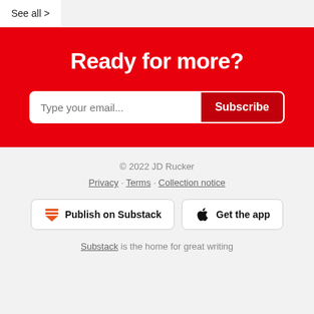See all >
Ready for more?
Type your email... Subscribe
© 2022 JD Rucker
Privacy · Terms · Collection notice
Publish on Substack   Get the app
Substack is the home for great writing